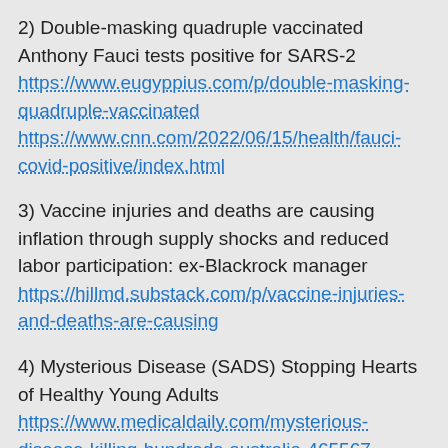2) Double-masking quadruple vaccinated Anthony Fauci tests positive for SARS-2 https://www.eugyppius.com/p/double-masking-quadruple-vaccinated https://www.cnn.com/2022/06/15/health/fauci-covid-positive/index.html
3) Vaccine injuries and deaths are causing inflation through supply shocks and reduced labor participation: ex-Blackrock manager https://hillmd.substack.com/p/vaccine-injuries-and-deaths-are-causing
4) Mysterious Disease (SADS) Stopping Hearts of Healthy Young Adults https://www.medicaldaily.com/mysterious-disease-killing-hundreds-australia-465567
5) Fifth largest life insurance company in the US paid